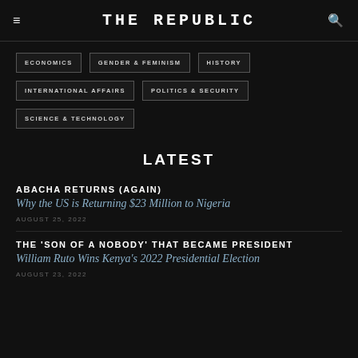THE REPUBLIC
ECONOMICS
GENDER & FEMINISM
HISTORY
INTERNATIONAL AFFAIRS
POLITICS & SECURITY
SCIENCE & TECHNOLOGY
LATEST
ABACHA RETURNS (AGAIN)
Why the US is Returning $23 Million to Nigeria
AUGUST 25, 2022
THE 'SON OF A NOBODY' THAT BECAME PRESIDENT
William Ruto Wins Kenya's 2022 Presidential Election
AUGUST 23, 2022